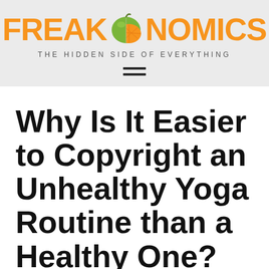[Figure (logo): Freakonomics logo with orange text 'FREAK' and 'NOMICS' with a green apple/orange fruit illustration in the middle, tagline 'THE HIDDEN SIDE OF EVERYTHING' below]
Why Is It Easier to Copyright an Unhealthy Yoga Routine than a Healthy One?